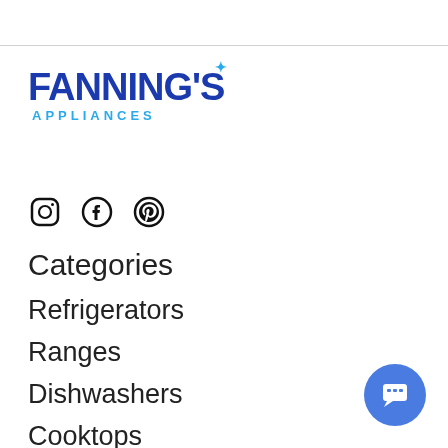[Figure (logo): Fanning's Appliances logo with dark blue bold text and light blue 'APPLIANCES' subtitle]
[Figure (infographic): Three social media icons: Instagram, Facebook, Pinterest]
Categories
Refrigerators
Ranges
Dishwashers
Cooktops
Laundry
Microwaves